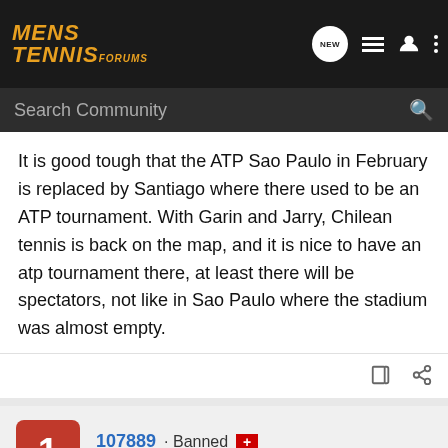[Figure (screenshot): Mens Tennis Forums navigation bar with logo, search bar, and icons]
It is good tough that the ATP Sao Paulo in February is replaced by Santiago where there used to be an ATP tournament. With Garin and Jarry, Chilean tennis is back on the map, and it is nice to have an atp tournament there, at least there will be spectators, not like in Sao Paulo where the stadium was almost empty.
107889 · Banned
Joined Dec 21, 2015 · 0 Posts
#10 · Nov 17, 2019
Not sure whether it's a good idea, it would be like fighting for